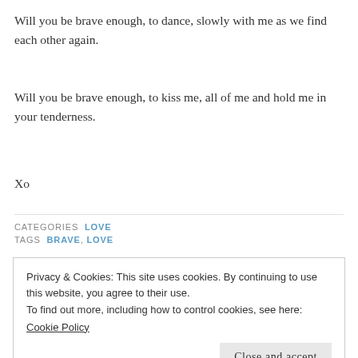Will you be brave enough, to dance, slowly with me as we find each other again.
Will you be brave enough, to kiss me, all of me and hold me in your tenderness.
Xo
CATEGORIES  LOVE
TAGS  BRAVE, LOVE
Privacy & Cookies: This site uses cookies. By continuing to use this website, you agree to their use.
To find out more, including how to control cookies, see here:
Cookie Policy
Close and accept